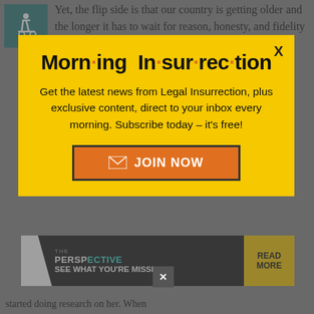[Figure (illustration): Wheelchair accessibility icon in teal square]
Yet, the flip side is that our country is getting older and the longer it has to wait for reason, honesty, and fidelity to our Constitution to be...
[Figure (other): Morning Insurrection email subscription modal popup with yellow background. Title: Morn·ing In·sur·rec·tion. Body: Get the latest news from Legal Insurrection, plus exclusive content, direct to your inbox every morning. Subscribe today – it's free! Button: JOIN NOW]
She told me about when McCain announced her he thought "who is Sarah..."
[Figure (infographic): The Perspective advertisement banner: SEE WHAT YOU'RE MISSING / READ MORE]
started doing research on her. When